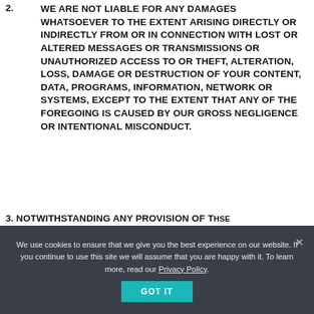2. WE ARE NOT LIABLE FOR ANY DAMAGES WHATSOEVER TO THE EXTENT ARISING DIRECTLY OR INDIRECTLY FROM OR IN CONNECTION WITH LOST OR ALTERED MESSAGES OR TRANSMISSIONS OR UNAUTHORIZED ACCESS TO OR THEFT, ALTERATION, LOSS, DAMAGE OR DESTRUCTION OF YOUR CONTENT, DATA, PROGRAMS, INFORMATION, NETWORK OR SYSTEMS, EXCEPT TO THE EXTENT THAT ANY OF THE FOREGOING IS CAUSED BY OUR GROSS NEGLIGENCE OR INTENTIONAL MISCONDUCT.
3. NOTWITHSTANDING ANY PROVISION OF THSE
We use cookies to ensure that we give you the best experience on our website. If you continue to use this site we will assume that you are happy with it. To learn more, read our Privacy Policy.
GOT IT